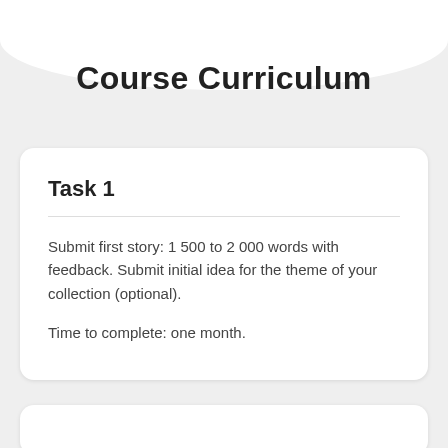Course Curriculum
Task 1
Submit first story: 1 500 to 2 000 words with feedback. Submit initial idea for the theme of your collection (optional).
Time to complete: one month.